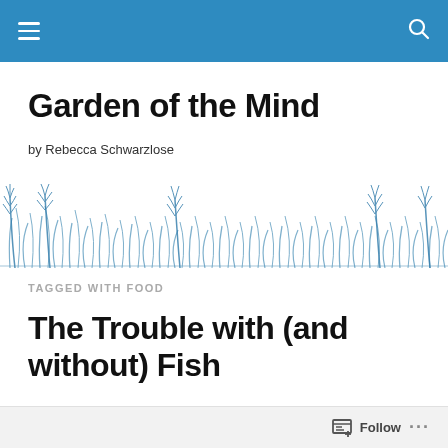Garden of the Mind — navigation bar
Garden of the Mind
by Rebecca Schwarzlose
[Figure (illustration): Decorative blue grass and plant silhouettes illustration spanning full width]
TAGGED WITH FOOD
The Trouble with (and without) Fish
Follow